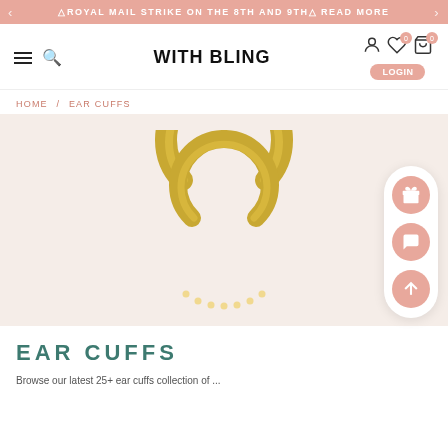⚠ ROYAL MAIL STRIKE ON THE 8TH AND 9TH ⚠  READ MORE
[Figure (screenshot): WITH BLING e-commerce website navigation bar with hamburger menu, search icon, logo, login button, wishlist (0) and cart (0) icons]
HOME / EAR CUFFS
[Figure (illustration): Gold double-band open ear cuff jewelry illustration on light pink/beige background]
EAR CUFFS
Browse our latest 25+ ear cuffs collection of ...